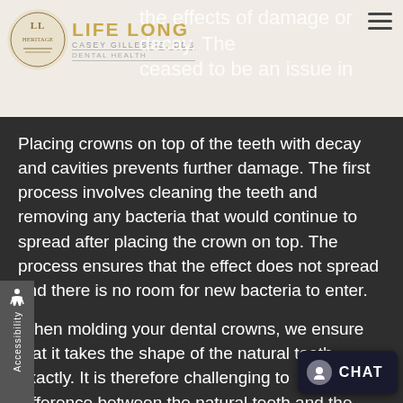[Figure (logo): Life Long Dental Health logo with circular emblem and text: LIFE LONG, CASEY GILLESPIE DDS, Dental Health]
the effects of damage or decay. The ceased to be an issue in
Placing crowns on top of the teeth with decay and cavities prevents further damage. The first process involves cleaning the teeth and removing any bacteria that would continue to spread after placing the crown on top. The process ensures that the effect does not spread and there is no room for new bacteria to enter.
When molding your dental crowns, we ensure that it takes the shape of the natural teeth exactly. It is therefore challenging to difference between the natural teeth and the